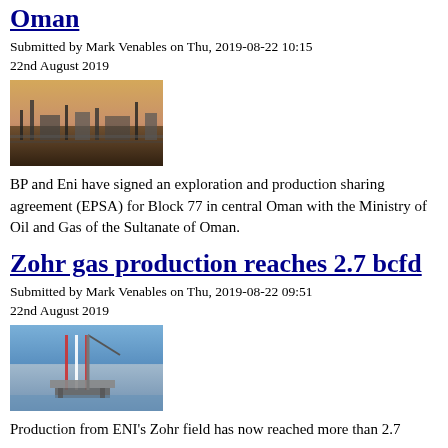Oman
Submitted by Mark Venables on Thu, 2019-08-22 10:15
22nd August 2019
[Figure (photo): Aerial view of an oil or gas processing facility in Oman at dusk, showing industrial equipment and pipelines.]
BP and Eni have signed an exploration and production sharing agreement (EPSA) for Block 77 in central Oman with the Ministry of Oil and Gas of the Sultanate of Oman.
Zohr gas production reaches 2.7 bcfd
Submitted by Mark Venables on Thu, 2019-08-22 09:51
22nd August 2019
[Figure (photo): A drilling rig or offshore platform on the sea, with red and white structures visible against a blue sky and water.]
Production from ENI's Zohr field has now reached more than 2.7